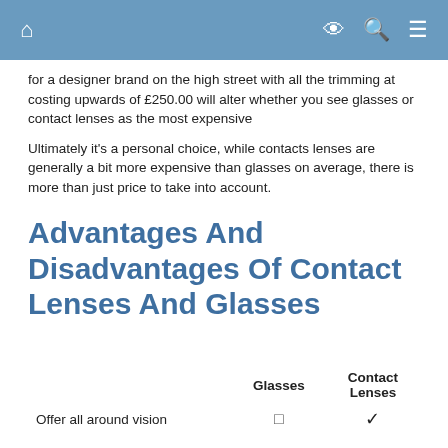Navigation bar with home, eye, search, and menu icons
for a designer brand on the high street with all the trimming at costing upwards of £250.00 will alter whether you see glasses or contact lenses as the most expensive
Ultimately it's a personal choice, while contacts lenses are generally a bit more expensive than glasses on average, there is more than just price to take into account.
Advantages And Disadvantages Of Contact Lenses And Glasses
|  | Glasses | Contact Lenses |
| --- | --- | --- |
| Offer all around vision | □ | ✓ |